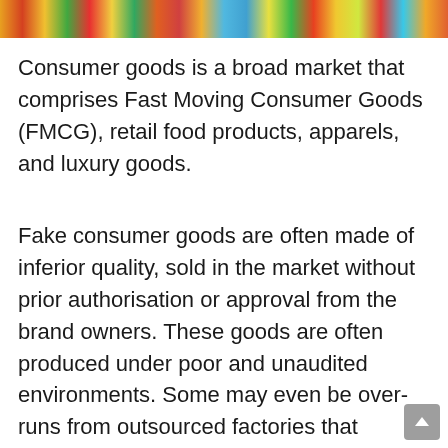[Figure (photo): Colorful consumer goods products arranged on a shelf or display, showing various branded packaged goods in bright colors.]
Consumer goods is a broad market that comprises Fast Moving Consumer Goods (FMCG), retail food products, apparels, and luxury goods.
Fake consumer goods are often made of inferior quality, sold in the market without prior authorisation or approval from the brand owners. These goods are often produced under poor and unaudited environments. Some may even be over-runs from outsourced factories that produce the same branded goods.